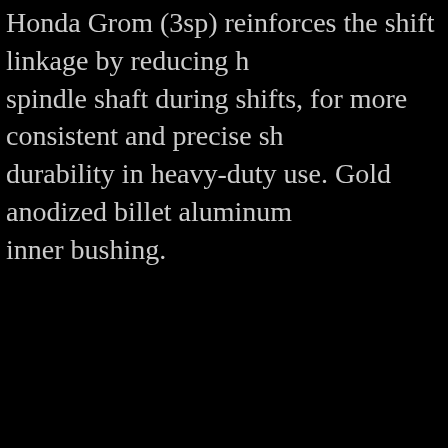Honda Grom (3sp) reinforces the shift linkage by reducing the spindle shaft during shifts, for more consistent and precise shifts and durability in heavy-duty use. Gold anodized billet aluminum inner bushing.